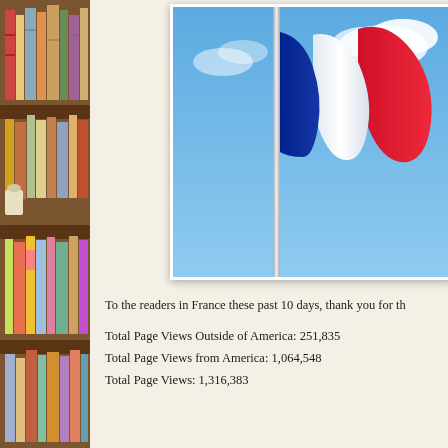[Figure (photo): Bookshelf with colorful books on the left side of the page]
[Figure (photo): French flag (tricolor: blue, white, red) waving against a blue sky with clouds]
To the readers in France these past 10 days, thank you for th[e...]
Total Page Views Outside of America: 251,835
Total Page Views from America: 1,064,548
Total Page Views: 1,316,383